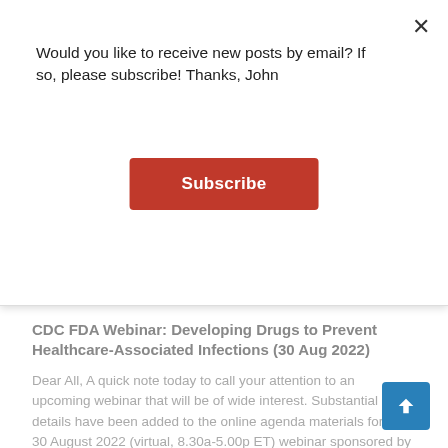Would you like to receive new posts by email? If so, please subscribe! Thanks, John
Subscribe
CDC FDA Webinar: Developing Drugs to Prevent Healthcare-Associated Infections (30 Aug 2022)
Dear All, A quick note today to call your attention to an upcoming webinar that will be of wide interest. Substantial new details have been added to the online agenda materials for the 30 August 2022 (virtual, 8.30a-5.00p ET) webinar sponsored by CDC and FDA entitled “Drug Development Considerations for the Prevention of Healthcare-Associated Infections.” This is very
US Senate And House / Call For Pull Incentives In FY23 Budget
Dear All, The US Government is now building its budget for FY23 (Federal Year 2023, really runs 1 Oct 22 to 30 Sep 23). We had proposals from the House for the Department of Health and Human Services (DHHS)